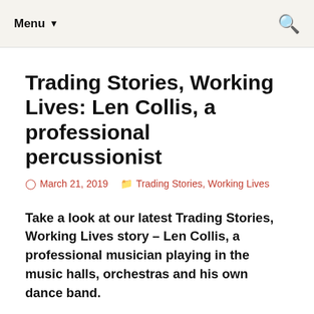Menu ▼
Trading Stories, Working Lives: Len Collis, a professional percussionist
March 21, 2019   Trading Stories, Working Lives
Take a look at our latest Trading Stories, Working Lives story – Len Collis, a professional musician playing in the music halls, orchestras and his own dance band.